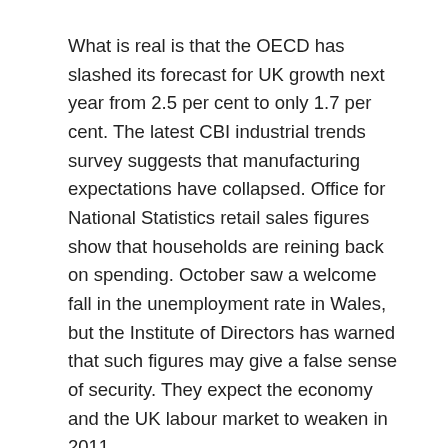What is real is that the OECD has slashed its forecast for UK growth next year from 2.5 per cent to only 1.7 per cent. The latest CBI industrial trends survey suggests that manufacturing expectations have collapsed. Office for National Statistics retail sales figures show that households are reining back on spending. October saw a welcome fall in the unemployment rate in Wales, but the Institute of Directors has warned that such figures may give a false sense of security. They expect the economy and the UK labour market to weaken in 2011.
There is a difference between a squeeze and a straightjacket. Plenty of experts, not just the Institute for Fiscal Studies, are warning that the Chancellor may have gone too far, that his constraints on expansion are too tight, and that he may need to ease the fiscal squeeze. In short that he may need a Plan B. The latest figures for